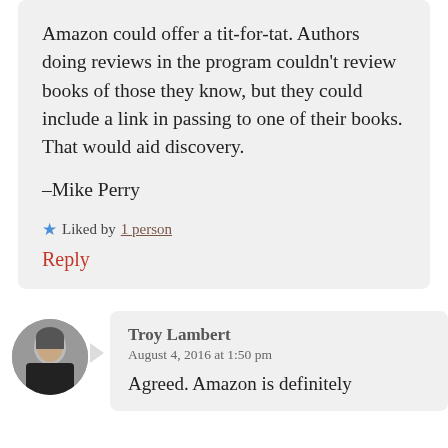Amazon could offer a tit-for-tat. Authors doing reviews in the program couldn't review books of those they know, but they could include a link in passing to one of their books. That would aid discovery.
–Mike Perry
★ Liked by 1 person
Reply
Troy Lambert
August 4, 2016 at 1:50 pm
Agreed. Amazon is definitely